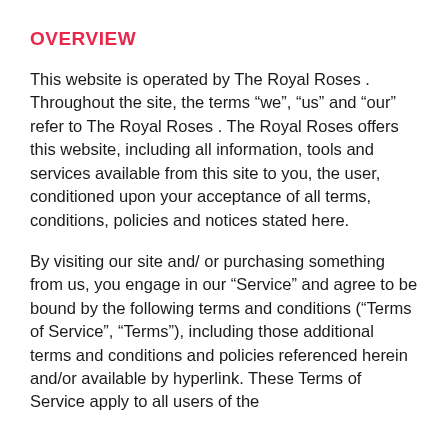OVERVIEW
This website is operated by The Royal Roses . Throughout the site, the terms “we”, “us” and “our” refer to The Royal Roses . The Royal Roses offers this website, including all information, tools and services available from this site to you, the user, conditioned upon your acceptance of all terms, conditions, policies and notices stated here.
By visiting our site and/ or purchasing something from us, you engage in our “Service” and agree to be bound by the following terms and conditions (“Terms of Service”, “Terms”), including those additional terms and conditions and policies referenced herein and/or available by hyperlink. These Terms of Service apply to all users of the